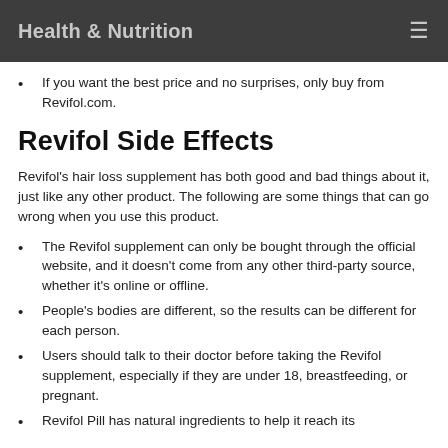Health & Nutrition
If you want the best price and no surprises, only buy from Revifol.com.
Revifol Side Effects
Revifol's hair loss supplement has both good and bad things about it, just like any other product. The following are some things that can go wrong when you use this product.
The Revifol supplement can only be bought through the official website, and it doesn't come from any other third-party source, whether it's online or offline.
People's bodies are different, so the results can be different for each person.
Users should talk to their doctor before taking the Revifol supplement, especially if they are under 18, breastfeeding, or pregnant.
Revifol Pill has natural ingredients to help it reach its